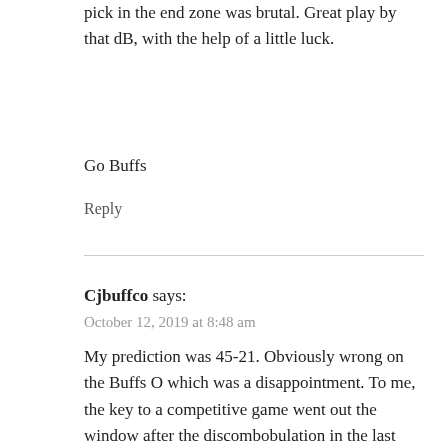pick in the end zone was brutal. Great play by that dB, with the help of a little luck.
Go Buffs
Reply
Cjbuffco says:
October 12, 2019 at 8:48 am
My prediction was 45-21. Obviously wrong on the Buffs O which was a disappointment. To me, the key to a competitive game went out the window after the discombobulation in the last few minutes of the first half when it could have been 17-10. This is disturbing as it feels just like the meltdown moments in the AF and AZ games. Once something bad happens, it's a series of bad things, not just one or two things. Lack